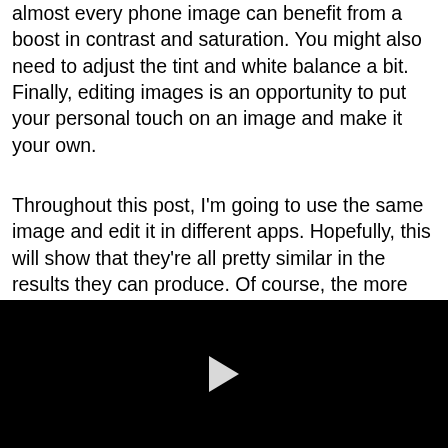almost every phone image can benefit from a boost in contrast and saturation. You might also need to adjust the tint and white balance a bit. Finally, editing images is an opportunity to put your personal touch on an image and make it your own.
Throughout this post, I'm going to use the same image and edit it in different apps. Hopefully, this will show that they're all pretty similar in the results they can produce. Of course, the more editing options an app has, the
[Figure (other): Black video player frame with a white play button triangle in the center]